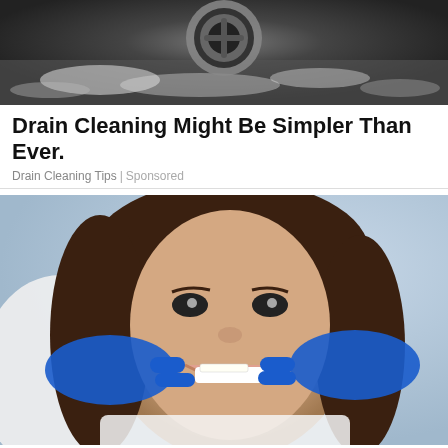[Figure (photo): Close-up of a metallic drain with water droplets or powder around it, dark background]
Drain Cleaning Might Be Simpler Than Ever.
Drain Cleaning Tips | Sponsored
[Figure (photo): A smiling young woman at a dentist, a dentist wearing blue gloves is fitting a dental veneer or implant to her teeth]
Here Is What Dental Implants May Cost You In Ashburn